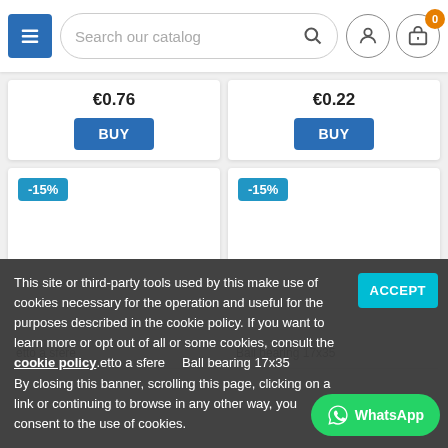Search our catalog — navigation header with menu, search bar, user icon, and cart icon (0 items)
[Figure (screenshot): Two partially visible product cards each with a BUY button, prices partially cut off]
[Figure (screenshot): Two product cards with -15% discount badges, product images not loaded]
This site or third-party tools used by this make use of cookies necessary for the operation and useful for the purposes described in the cookie policy. If you want to learn more or opt out of all or some cookies, consult the cookie policy. By closing this banner, scrolling this page, clicking on a link or continuing to browse in any other way, you consent to the use of cookies.
ACCEPT
etto a sfere
Ball bearing 17x35
WhatsApp